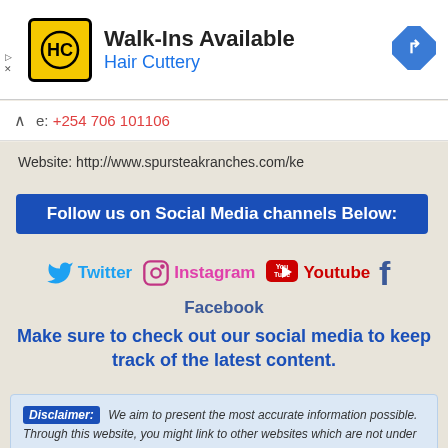[Figure (logo): Hair Cuttery logo - HC letters in black on yellow square background with black border]
Walk-Ins Available
Hair Cuttery
[Figure (illustration): Blue diamond navigation/directions icon with right-turn arrow]
e: +254 706 101106
Website: http://www.spursteakranches.com/ke
Follow us on Social Media channels Below:
[Figure (illustration): Twitter, Instagram, Youtube, and Facebook social media icons with labels]
Make sure to check out our social media to keep track of the latest content.
Disclaimer: We aim to present the most accurate information possible. Through this website, you might link to other websites which are not under our control. We have no control over the nature, content and availability of those websites.